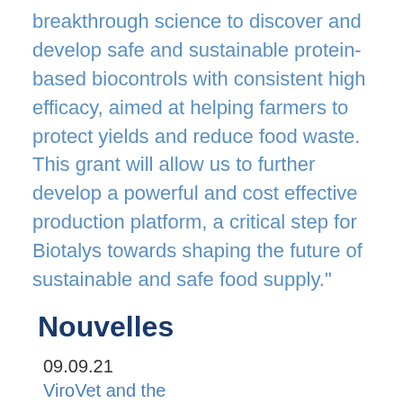breakthrough science to discover and develop safe and sustainable protein-based biocontrols with consistent high efficacy, aimed at helping farmers to protect yields and reduce food waste.  This grant will allow us to further develop a powerful and cost effective production platform, a critical step for Biotalys towards shaping the future of sustainable and safe food supply."
Nouvelles
09.09.21
ViroVet and the Pirbright Institute are first to demonstrate efficacy of antivirals in ASFV infected pigs
Belgian biotechnology